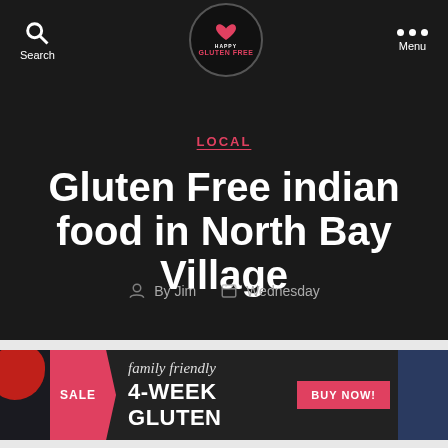Search | Happy Gluten Free | Menu
LOCAL
Gluten Free indian food in North Bay Village
By Jim  Wednesday
[Figure (infographic): Advertisement banner: SALE badge, 'family friendly' italic text, '4-WEEK GLUTEN' bold text, BUY NOW button]